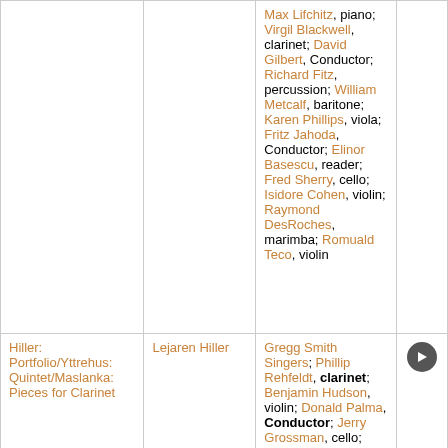| Title | Composer | Performers |  |
| --- | --- | --- | --- |
| (continuation) |  | Max Lifchitz, piano; Virgil Blackwell, clarinet; David Gilbert, Conductor; Richard Fitz, percussion; William Metcalf, baritone; Karen Phillips, viola; Fritz Jahoda, Conductor; Elinor Basescu, reader; Fred Sherry, cello; Isidore Cohen, violin; Raymond DesRoches, marimba; Romuald Teco, violin |  |
| Hiller: Portfolio/Yttrehus: Quintet/Maslanka: Pieces for Clarinet | Lejaren Hiller | Gregg Smith Singers; Phillip Rehfeldt, clarinet; Benjamin Hudson, violin; Donald Palma, Conductor; Jerry Grossman, cello; Ursula Oppens, piano; Speculum Musicae; Virgil Blackwell, clarinet; Michael Parloff, flute; ... | ▶ |